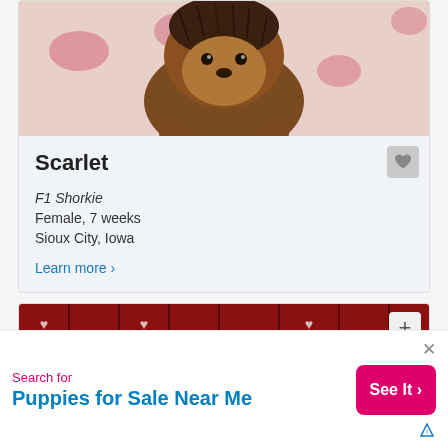[Figure (photo): Partial photo of a small brown/tan dog (Shorkie puppy) sitting on pink floral bedding, cropped at top of card]
Scarlet
F1 Shorkie
Female, 7 weeks
Sioux City, Iowa
Learn more >
[Figure (photo): Photo of a fluffy golden/cream colored poodle mix puppy sitting on a red plaid blanket with heart and paw print patterns]
Search for
Puppies for Sale Near Me
See It >